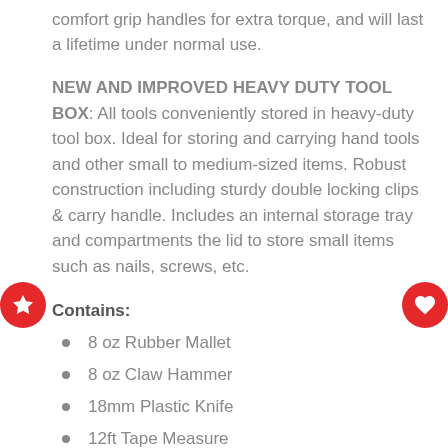comfort grip handles for extra torque, and will last a lifetime under normal use.
NEW AND IMPROVED HEAVY DUTY TOOL BOX: All tools conveniently stored in heavy-duty tool box. Ideal for storing and carrying hand tools and other small to medium-sized items. Robust construction including sturdy double locking clips & carry handle. Includes an internal storage tray and compartments the lid to store small items such as nails, screws, etc.
Contains:
8 oz Rubber Mallet
8 oz Claw Hammer
18mm Plastic Knife
12ft Tape Measure